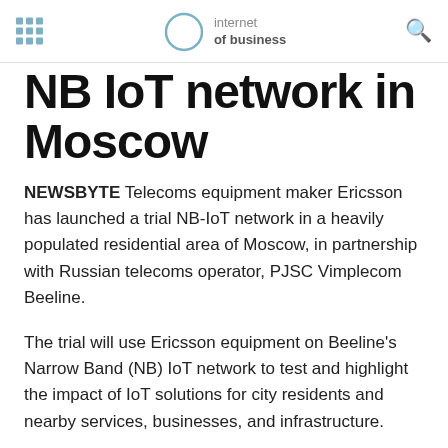internet of business
NB IoT network in Moscow
NEWSBYTE Telecoms equipment maker Ericsson has launched a trial NB-IoT network in a heavily populated residential area of Moscow, in partnership with Russian telecoms operator, PJSC Vimplecom Beeline.
The trial will use Ericsson equipment on Beeline's Narrow Band (NB) IoT network to test and highlight the impact of IoT solutions for city residents and nearby services, businesses, and infrastructure.
The trial is taking place in the Maryino area – Moscow's most populous district, and will